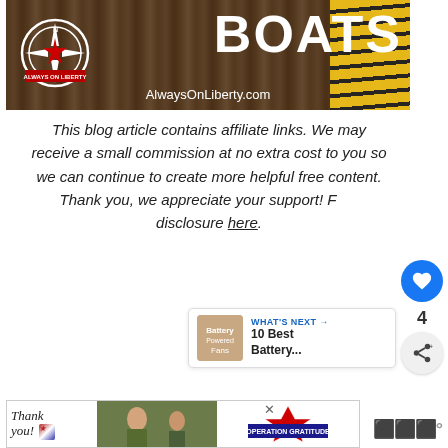[Figure (photo): Blog banner image showing 'BOATS' text in large white bold letters on dark background, with AlwaysOnLiberty.com logo (compass rose design) and website URL. Yellow diagonal stripes visible on right. Wooden surface texture visible.]
This blog article contains affiliate links. We may receive a small commission at no extra cost to you so we can continue to create more helpful free content. Thank you, we appreciate your support! Full disclosure here.
[Figure (screenshot): WHAT'S NEXT arrow label with thumbnail image of battery powered fans and text '10 Best Battery...']
[Figure (photo): Advertisement banner: 'Thank you!' handwritten text with American flag pencil, military personnel photo, Operation Gratitude logo with star and eagle]